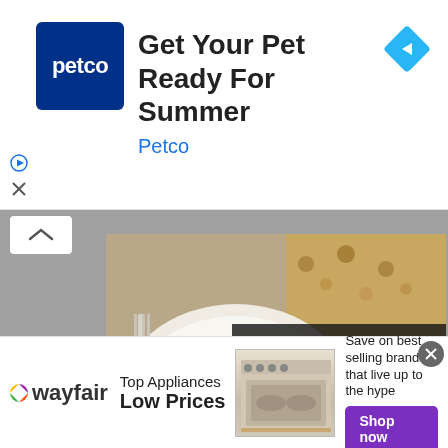[Figure (screenshot): Petco advertisement banner: blue Petco logo square, headline 'Get Your Pet Ready For Summer', brand name 'Petco' in blue, diamond-shaped navigation icon on right. Ad controls (play and close) on left.]
[Figure (photo): Food photo showing a crumbly dessert/bar on a white plate with a fork, on a wooden surface, partially overlaid by a dark video player overlay with a blue double-chevron play icon, a spinner icon, and a mute button.]
[Figure (screenshot): Wayfair advertisement banner at bottom: Wayfair logo with colorful star, 'Top Appliances Low Prices' text, image of a range/stove appliance, 'Save on best selling brands that live up to the hype' text, purple 'Shop now' button, and close X button.]